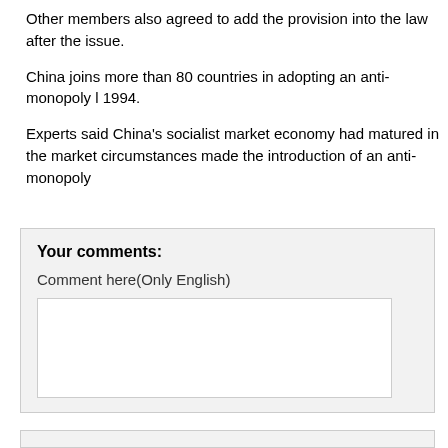Other members also agreed to add the provision into the law after the issue.
China joins more than 80 countries in adopting an anti-monopoly law since 1994.
Experts said China's socialist market economy had matured in the market circumstances made the introduction of an anti-monopoly
Your comments:
Comment here(Only English)